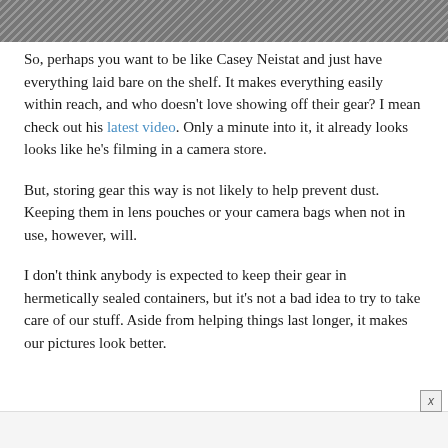[Figure (photo): Partial view of fabric or textile with herringbone pattern in dark gray tones — top portion of image cropped at page top]
So, perhaps you want to be like Casey Neistat and just have everything laid bare on the shelf. It makes everything easily within reach, and who doesn't love showing off their gear? I mean check out his latest video. Only a minute into it, it already looks looks like he's filming in a camera store.
But, storing gear this way is not likely to help prevent dust. Keeping them in lens pouches or your camera bags when not in use, however, will.
I don't think anybody is expected to keep their gear in hermetically sealed containers, but it's not a bad idea to try to take care of our stuff. Aside from helping things last longer, it makes our pictures look better.